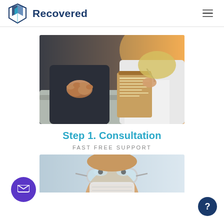Recovered
[Figure (photo): Two people sitting on a couch during a consultation. One person has their hands clasped together, while the other holds a clipboard and pen, wearing a white coat. Warm yellow pillow in background.]
Step 1. Consultation
FAST FREE SUPPORT
[Figure (photo): Close-up of an elderly person wearing clear safety goggles and a medical mask, partially visible at the bottom of the page.]